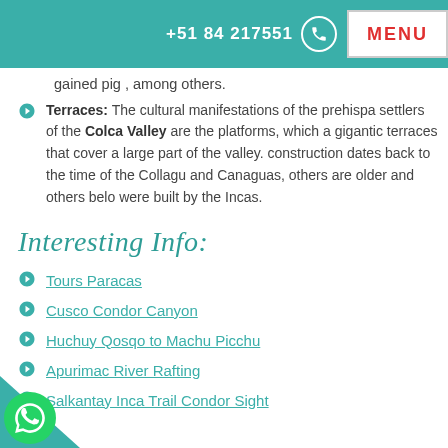+51 84 217551  MENU
gained pig , among others.
Terraces: The cultural manifestations of the prehispa settlers of the Colca Valley are the platforms, which a gigantic terraces that cover a large part of the valley. construction dates back to the time of the Collagu and Canaguas, others are older and others belo were built by the Incas.
Interesting Info:
Tours Paracas
Cusco Condor Canyon
Huchuy Qosqo to Machu Picchu
Apurimac River Rafting
Salkantay Inca Trail Condor Sight